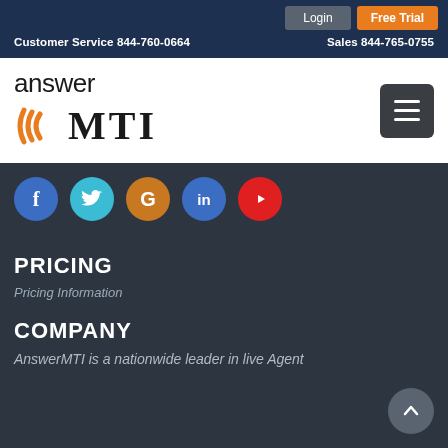Login  Free Trial  Customer Service 844-760-0664  Sales 844-765-0755
[Figure (logo): Answer MTI logo with orange wave graphic and bold MTI text]
[Figure (infographic): Social media icons row: Facebook (blue), Twitter (cyan), Google (orange), LinkedIn (blue), YouTube (red)]
PRICING
Pricing Information
COMPANY
AnswerMTI is a nationwide leader in live Agent